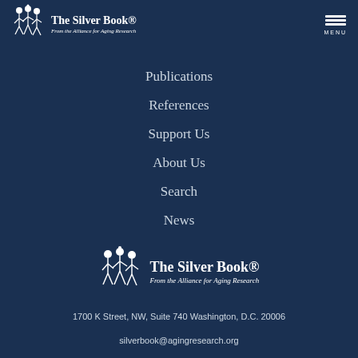The Silver Book® From the Alliance for Aging Research — MENU
Publications
References
Support Us
About Us
Search
News
[Figure (logo): The Silver Book® logo with figure icon and text 'From the Alliance for Aging Research']
1700 K Street, NW, Suite 740 Washington, D.C. 20006
silverbook@agingresearch.org